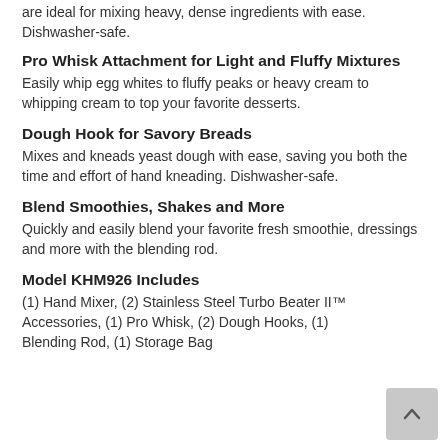are ideal for mixing heavy, dense ingredients with ease. Dishwasher-safe.
Pro Whisk Attachment for Light and Fluffy Mixtures
Easily whip egg whites to fluffy peaks or heavy cream to whipping cream to top your favorite desserts.
Dough Hook for Savory Breads
Mixes and kneads yeast dough with ease, saving you both the time and effort of hand kneading. Dishwasher-safe.
Blend Smoothies, Shakes and More
Quickly and easily blend your favorite fresh smoothie, dressings and more with the blending rod.
Model KHM926 Includes
(1) Hand Mixer, (2) Stainless Steel Turbo Beater II™ Accessories, (1) Pro Whisk, (2) Dough Hooks, (1) Blending Rod, (1) Storage Bag